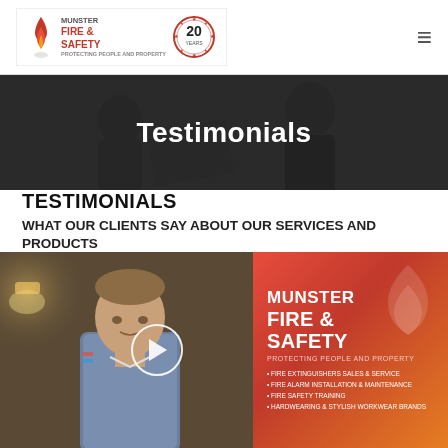[Figure (logo): Munster Fire & Safety logo with flame icon and 20 years badge]
[Figure (photo): Dark hero banner with two people reviewing documents - Testimonials heading overlaid]
Testimonials
TESTIMONIALS
WHAT OUR CLIENTS SAY ABOUT OUR SERVICES AND PRODUCTS
[Figure (screenshot): Video thumbnail showing a man standing in front of a Munster Fire & Safety banner with a play button overlay. Banner shows: MUNSTER FIRE & SAFETY, PROTECTING PEOPLE AND PROPERTY, bullet points: FIRE EXTINGUISHERS SALES & SERVICE, FIRE ALARM INSTALLATION & MAINTENANCE, FIRE SAFETY TRAINING, HARDWEARING & STYLISH WORKWEAR BRANDS]